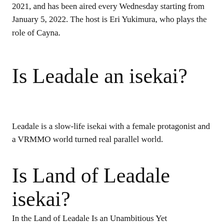2021, and has been aired every Wednesday starting from January 5, 2022. The host is Eri Yukimura, who plays the role of Cayna.
Is Leadale an isekai?
Leadale is a slow-life isekai with a female protagonist and a VRMMO world turned real parallel world.
Is Land of Leadale isekai?
In the Land of Leadale Is an Unambitious Yet